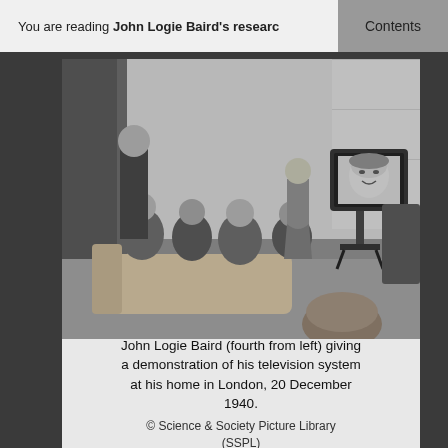You are reading John Logie Baird's research  Contents
[Figure (photo): Black and white photograph of John Logie Baird (fourth from left) and several other people seated watching a television demonstration at his home in London, 20 December 1940. A woman stands next to the television set which displays a woman's face on screen.]
John Logie Baird (fourth from left) giving a demonstration of his television system at his home in London, 20 December 1940.
© Science & Society Picture Library (SSPL)